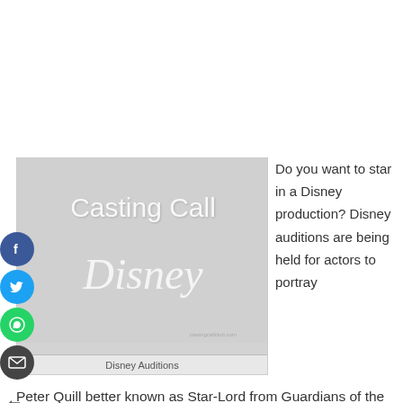[Figure (illustration): Casting Call Disney promotional image with 'Casting Call' in stylized white text and Disney logo, gray background]
Disney Auditions
Do you want to star in a Disney production? Disney auditions are being held for actors to portray
Peter Quill better known as Star-Lord from Guardians of the Galaxy! The casting call is searching for men who are 6' to 6'3 who have an athletic and muscular build. Open call